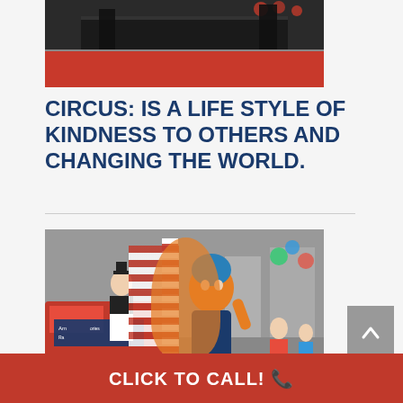[Figure (photo): Photo of a circus stage with red carpet, performers, and decorations including red balloons and black curtain backdrop]
CIRCUS: IS A LIFE STYLE OF KINDNESS TO OTHERS AND CHANGING THE WORLD.
[Figure (photo): Photo of a street parade scene featuring a person in a black and white outfit, a large orange mascot character with blue hair, red fire truck, and colorful balloons]
CLICK TO CALL! 📞